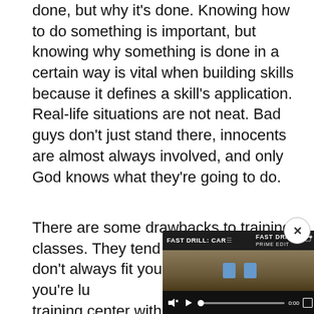done, but why it's done. Knowing how to do something is important, but knowing why something is done in a certain way is vital when building skills because it defines a skill's application. Real-life situations are not neat. Bad guys don't just stand there, innocents are almost always involved, and only God knows what they're going to do.
There are some drawbacks to training classes. They tend to be costly and don't always fit your schedule. Unless you're lu... a training center with open... such as Gunsite or the Sig... where classes are often h...
[Figure (screenshot): Embedded video player overlay showing 'FAST DRILL: CAR...' with video scene of shooting targets, playback controls (mute, play, progress bar showing 0:00, fullscreen), and a close (x) button.]